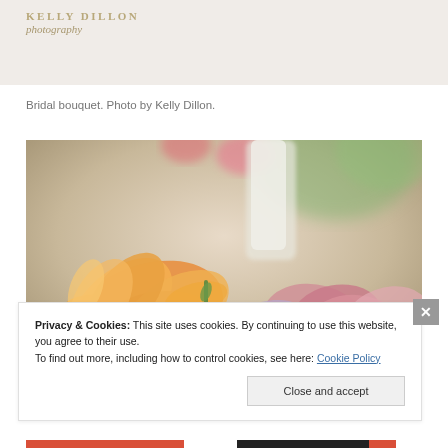[Figure (photo): Kelly Dillon Photography logo on light background — partial top of page]
Bridal bouquet. Photo by Kelly Dillon.
[Figure (photo): Close-up photo of colorful bridal bouquet with orange, pink, and purple flowers, soft bokeh background]
Privacy & Cookies: This site uses cookies. By continuing to use this website, you agree to their use.
To find out more, including how to control cookies, see here: Cookie Policy
Close and accept